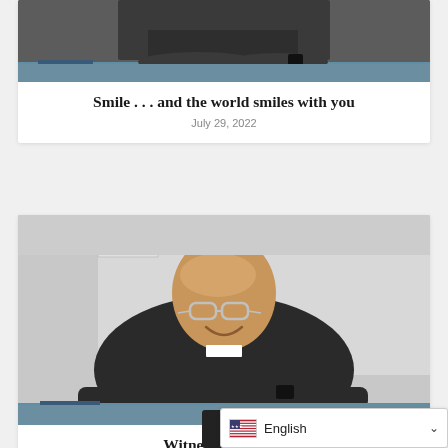[Figure (photo): Top portion of a person in dark clothing sitting at a blue desk, arms crossed, wearing a smartwatch. Only torso and arms visible.]
Smile . . . and the world smiles with you
July 29, 2022
[Figure (photo): Smiling older bald man wearing glasses and a black clerical shirt with white collar, seated at a blue desk with arms resting on it. Classroom setting visible in background.]
Witness the hurt a
August 12